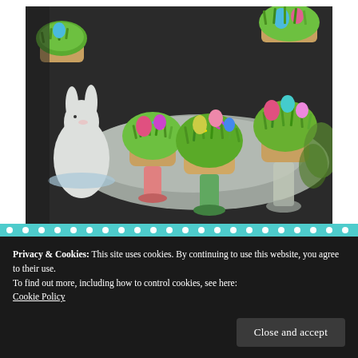[Figure (photo): Easter cupcakes decorated with green coconut 'grass', colorful candy eggs (pink, blue, yellow, purple), and sprinkles, displayed on decorative glass egg cups/stands on a silver tray. A white ceramic bunny figurine is visible on the left. A baking tray with more cupcakes is seen in the background.]
Privacy & Cookies: This site uses cookies. By continuing to use this website, you agree to their use.
To find out more, including how to control cookies, see here:
Cookie Policy
Close and accept